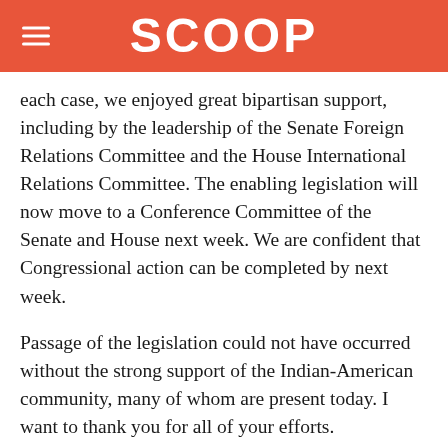SCOOP
each case, we enjoyed great bipartisan support, including by the leadership of the Senate Foreign Relations Committee and the House International Relations Committee. The enabling legislation will now move to a Conference Committee of the Senate and House next week. We are confident that Congressional action can be completed by next week.
Passage of the legislation could not have occurred without the strong support of the Indian-American community, many of whom are present today. I want to thank you for all of your efforts.
However, once the legislation is finalized, there are still a number of steps remaining before civil nuclear cooperation can commence. We are working to complete the U.S.-India bilateral agreement (the so-called 123 agreement). India must conclude a